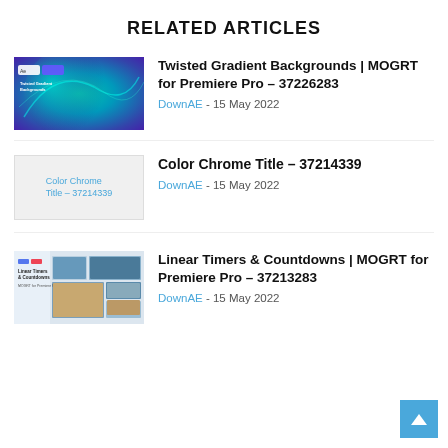RELATED ARTICLES
[Figure (photo): Twisted Gradient Backgrounds thumbnail – swirling teal and purple gradient design]
Twisted Gradient Backgrounds | MOGRT for Premiere Pro – 37226283
DownAE - 15 May 2022
[Figure (photo): Color Chrome Title – 37214339 placeholder image]
Color Chrome Title – 37214339
DownAE - 15 May 2022
[Figure (photo): Linear Timers & Countdowns thumbnail – showing collage of photos with timer product branding]
Linear Timers & Countdowns | MOGRT for Premiere Pro – 37213283
DownAE - 15 May 2022